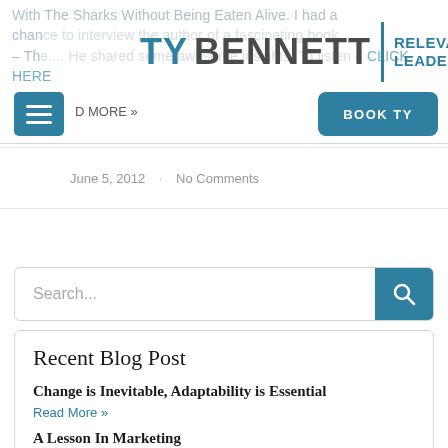With The Sharks Without Being Eaten Alive. I had a chance to interview the author of a fascinating book – The.... He shared some awesome insights. To listen – CLICK HERE
[Figure (logo): Ty Bennett | Relevant Leadership logo with teal and dark grey text]
[Figure (other): Hamburger menu button (teal)]
[Figure (other): BOOK TY button (teal)]
D MORE »
June 5, 2012 · No Comments
[Figure (other): Search bar with teal search icon button]
Recent Blog Post
Change is Inevitable, Adaptability is Essential
Read More »
A Lesson In Marketing